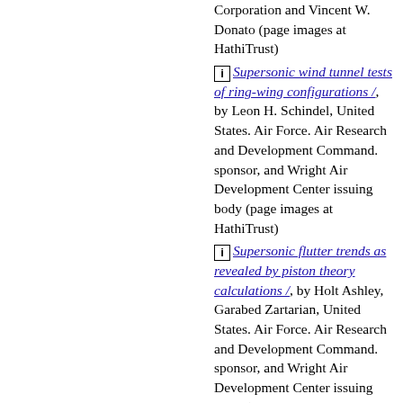Corporation and Vincent W. Donato (page images at HathiTrust)
[i] Supersonic wind tunnel tests of ring-wing configurations /, by Leon H. Schindel, United States. Air Force. Air Research and Development Command. sponsor, and Wright Air Development Center issuing body (page images at HathiTrust)
[i] Supersonic flutter trends as revealed by piston theory calculations /, by Holt Ashley, Garabed Zartarian, United States. Air Force. Air Research and Development Command. sponsor, and Wright Air Development Center issuing body (page images at HathiTrust)
[i] Survey on heat transfer at high speeds /, by F. R. C...